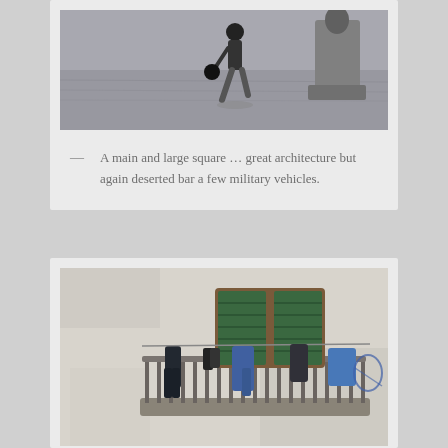[Figure (photo): A man walking across a large cobblestone square, carrying something in his hand. A large decorative stone monument or pedestal is visible on the right. The square appears deserted.]
— A main and large square … great architecture but again deserted bar a few military vehicles.
[Figure (photo): A balcony on an old building with green shutters and a wooden frame. Clothes are hanging to dry on the balcony railing. The building's stone or plaster wall is visible around the balcony.]